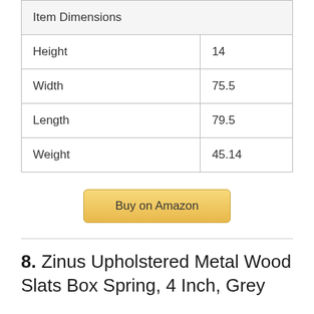| Item Dimensions |  |
| --- | --- |
| Height | 14 |
| Width | 75.5 |
| Length | 79.5 |
| Weight | 45.14 |
Buy on Amazon
8. Zinus Upholstered Metal Wood Slats Box Spring, 4 Inch, Grey